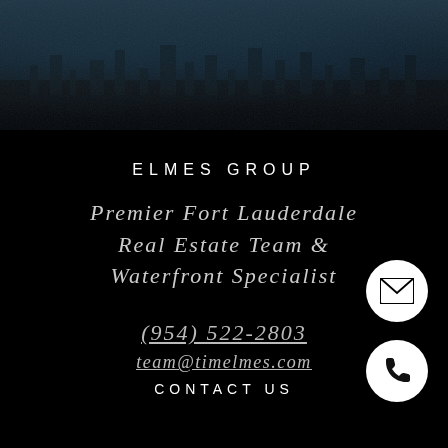[Figure (photo): Dark atmospheric cityscape or waterfront panoramic photo strip at the top of the page with dark moody tones]
ELMES GROUP
Premier Fort Lauderdale Real Estate Team & Waterfront Specialist
(954) 522-2803
team@timelmes.com
CONTACT US
[Figure (illustration): White circle icon with envelope/email symbol]
[Figure (illustration): White circle icon with phone/handset symbol]